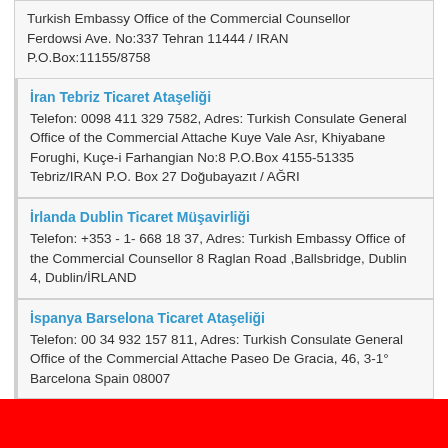Turkish Embassy Office of the Commercial Counsellor Ferdowsi Ave. No:337 Tehran 11444 / IRAN P.O.Box:11155/8758
İran Tebriz Ticaret Ataşeliği
Telefon: 0098 411 329 7582, Adres: Turkish Consulate General Office of the Commercial Attache Kuye Vale Asr, Khiyabane Forughi, Kuçe-i Farhangian No:8 P.O.Box 4155-51335 Tebriz/IRAN P.O. Box 27 Doğubayazıt / AĞRI
İrlanda Dublin Ticaret Müşavirliği
Telefon: +353 - 1- 668 18 37, Adres: Turkish Embassy Office of the Commercial Counsellor 8 Raglan Road ,Ballsbridge, Dublin 4, Dublin/İRLAND
İspanya Barselona Ticaret Ataşeliği
Telefon: 00 34 932 157 811, Adres: Turkish Consulate General Office of the Commercial Attache Paseo De Gracia, 46, 3-1° Barcelona Spain 08007